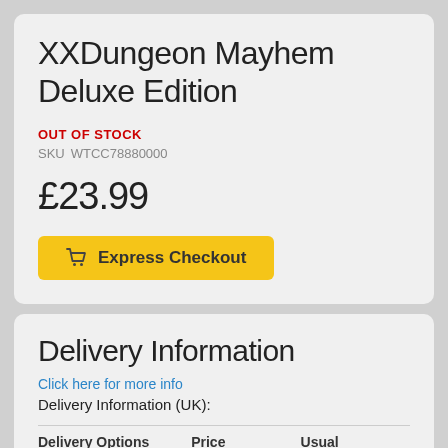XXDungeon Mayhem Deluxe Edition
OUT OF STOCK
SKU WTCC78880000
£23.99
Express Checkout
Delivery Information
Click here for more info
Delivery Information (UK):
| Delivery Options | Price | Usual |
| --- | --- | --- |